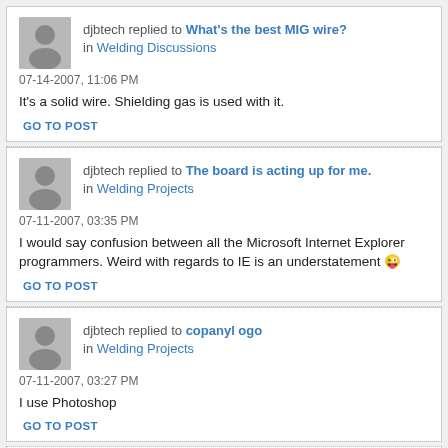djbtech replied to What's the best MIG wire? in Welding Discussions
07-14-2007, 11:06 PM
It's a solid wire. Shielding gas is used with it.
GO TO POST
djbtech replied to The board is acting up for me. in Welding Projects
07-11-2007, 03:35 PM
I would say confusion between all the Microsoft Internet Explorer programmers. Weird with regards to IE is an understatement 😜
GO TO POST
djbtech replied to copanyl ogo in Welding Projects
07-11-2007, 03:27 PM
I use Photoshop
GO TO POST